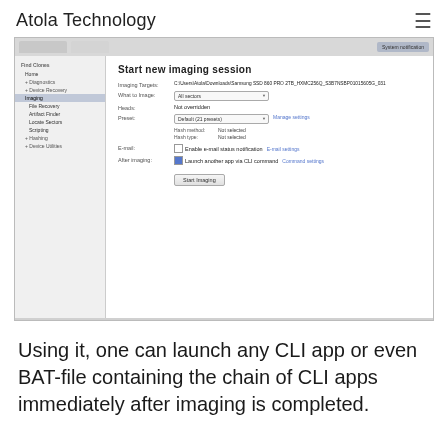Atola Technology
[Figure (screenshot): Screenshot of Atola software showing 'Start new imaging session' dialog with fields for Imaging Targets, What to Image (All sectors), Preset (Default 21 presets), Hash method (Not selected), Hash type (Not selected), E-mail (Enable e-mail status notification), After imaging (Launch another app via CLI command), and Start Imaging button. Left sidebar shows navigation: Find Cloned, Home, Diagnostics, Device Recovery, Imaging (active), File Recovery, Artifact Finder, Locate Sectors, Scripting, Hashing, Device Utilities.]
Using it, one can launch any CLI app or even BAT-file containing the chain of CLI apps immediately after imaging is completed.